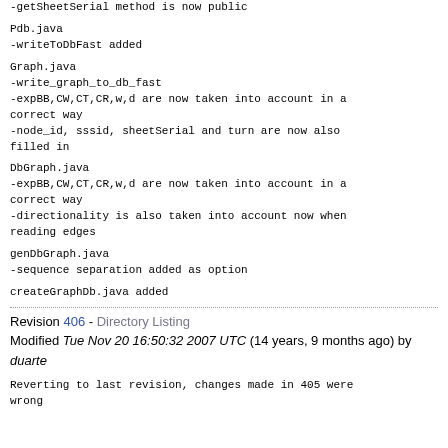-getSheetSerial method is now public
Pdb.java
-writeToDbFast added
Graph.java
-write_graph_to_db_fast
-expBB,CW,CT,CR,w,d are now taken into account in a correct way
-node_id, sssid, sheetSerial and turn are now also filled in
DbGraph.java
-expBB,CW,CT,CR,w,d are now taken into account in a correct way
-directionality is also taken into account now when reading edges
genDbGraph.java
-sequence separation added as option
createGraphDb.java added
Revision 406 - Directory Listing
Modified Tue Nov 20 16:50:32 2007 UTC (14 years, 9 months ago) by duarte
Reverting to last revision, changes made in 405 were wrong